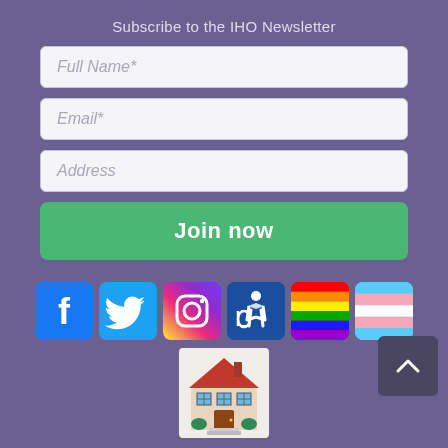Subscribe to the IHO Newsletter
Full Name*
Email*
Address
Join now
[Figure (infographic): Row of social media and accessibility icons: Facebook, Twitter, Instagram, Accessibility symbol, Rainbow pride flag, Transgender pride flag]
[Figure (illustration): Pixel art illustration of a house/building representing Interval House of Ottawa]
© Interval House of Ottawa-Maison Interval d'Ottawa
Charitable Registration 4875434457RR0034